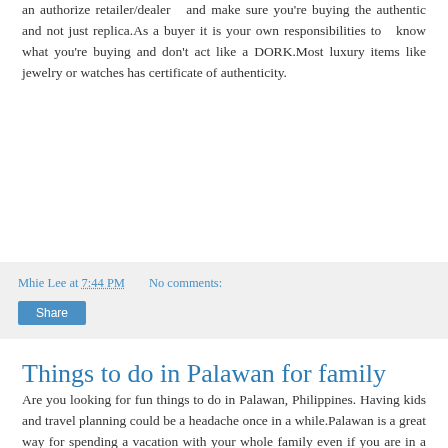an authorize retailer/dealer and make sure you're buying the authentic and not just replica.As a buyer it is your own responsibilities to know what you're buying and don't act like a DORK.Most luxury items like jewelry or watches has certificate of authenticity.
Mhie Lee at 7:44 PM   No comments:
Share
Things to do in Palawan for family
Are you looking for fun things to do in Palawan, Philippines. Having kids and travel planning could be a headache once in a while.Palawan is a great way for spending a vacation with your whole family even if you are in a budget travel or want to break the bank.